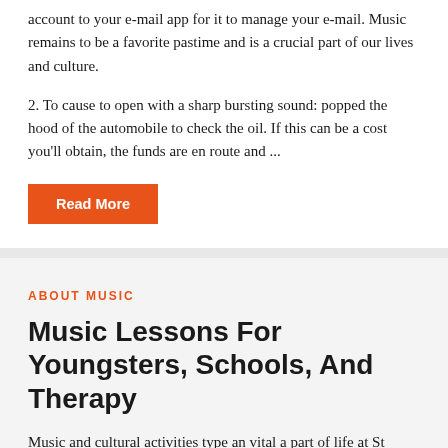account to your e-mail app for it to manage your e-mail. Music remains to be a favorite pastime and is a crucial part of our lives and culture.
2. To cause to open with a sharp bursting sound: popped the hood of the automobile to check the oil. If this can be a cost you'll obtain, the funds are en route and ...
Read More
ABOUT MUSIC
Music Lessons For Youngsters, Schools, And Therapy
Music and cultural activities type an vital a part of life at St Paul's Collegiate Faculty. There's a robust suggestion that for